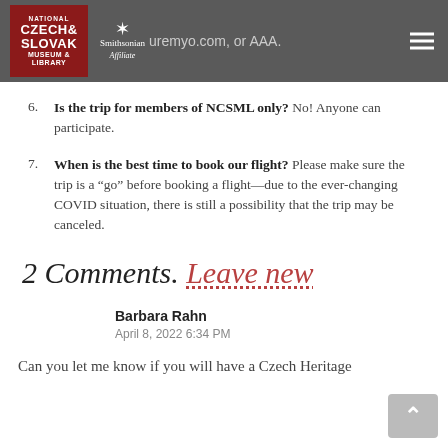National Czech & Slovak Museum & Library — Smithsonian Affiliate
6. Is the trip for members of NCSML only? No! Anyone can participate.
7. When is the best time to book our flight? Please make sure the trip is a “go” before booking a flight—due to the ever-changing COVID situation, there is still a possibility that the trip may be canceled.
2 Comments. Leave new
Barbara Rahn
April 8, 2022 6:34 PM
Can you let me know if you will have a Czech Heritage